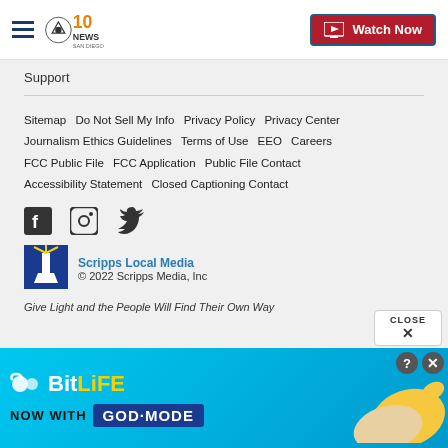10News San Diego | Watch Now
Support
Sitemap   Do Not Sell My Info   Privacy Policy   Privacy Center   Journalism Ethics Guidelines   Terms of Use   EEO   Careers   FCC Public File   FCC Application   Public File Contact   Accessibility Statement   Closed Captioning Contact
[Figure (other): Social media icons: Facebook, Instagram, Twitter]
[Figure (logo): Scripps Local Media logo with lighthouse graphic]
Scripps Local Media
© 2022 Scripps Media, Inc
Give Light and the People Will Find Their Own Way
[Figure (other): BitLife advertisement banner: NOW WITH GOD MODE]